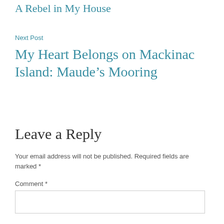A Rebel in My House
Next Post
My Heart Belongs on Mackinac Island: Maude’s Mooring
Leave a Reply
Your email address will not be published. Required fields are marked *
Comment *